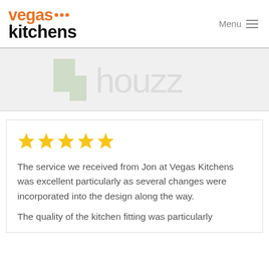[Figure (logo): Vegas Kitchens logo — 'vegas' in orange bold text with three orange dots, 'kitchens' in black bold text below]
Menu ≡
[Figure (logo): Houzz logo — light grey 'h' icon and 'houzz' text, watermark style on light grey background]
★★★★★
The service we received from Jon at Vegas Kitchens was excellent particularly as several changes were incorporated into the design along the way.
The quality of the kitchen fitting was particularly